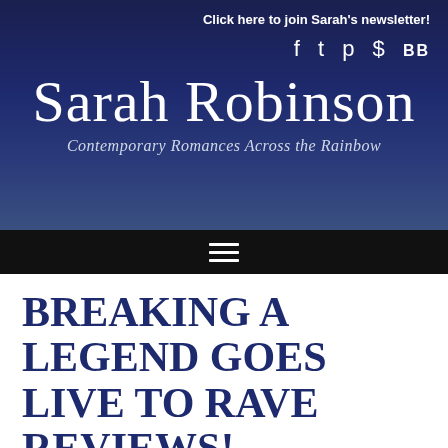Click here to join Sarah's newsletter!
Sarah Robinson
Contemporary Romances Across the Rainbow
[Figure (other): Navigation hamburger menu icon (three horizontal white lines) on black bar]
BREAKING A LEGEND GOES LIVE TO RAVE REVIEWS!
By Sarah Robinson | October 2, 2015 | 3 comments